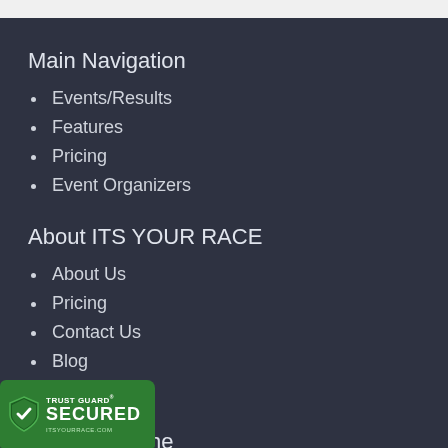Main Navigation
Events/Results
Features
Pricing
Event Organizers
About ITS YOUR RACE
About Us
Pricing
Contact Us
Blog
Advertise
Find Us Online
Facebook
Twitter
[Figure (logo): Trust Guard Secured badge with shield icon and text TRUST GUARD SECURED ITSYOURRACE.COM on green background]